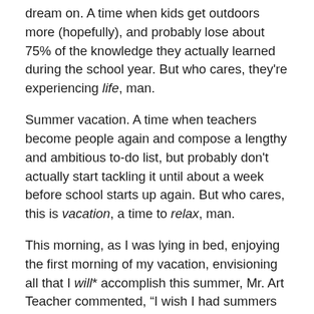dream on. A time when kids get outdoors more (hopefully), and probably lose about 75% of the knowledge they actually learned during the school year. But who cares, they're experiencing life, man.
Summer vacation. A time when teachers become people again and compose a lengthy and ambitious to-do list, but probably don't actually start tackling it until about a week before school starts up again. But who cares, this is vacation, a time to relax, man.
This morning, as I was lying in bed, enjoying the first morning of my vacation, envisioning all that I will* accomplish this summer, Mr. Art Teacher commented, "I wish I had summers off." My reply, as always, "You should have become a teacher." And his response, as always, "No way." And this is why he earns twice what I do, despite his less superior education, but I digress.